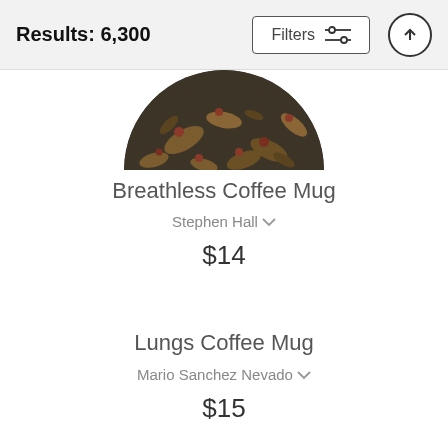Results: 6,300
Filters
[Figure (photo): Partial top view of a coffee mug with dark floral/botanical pattern in earthy tones of brown, rust, and dark grey]
Breathless Coffee Mug
Stephen Hall
$14
Lungs Coffee Mug
Mario Sanchez Nevado
$15